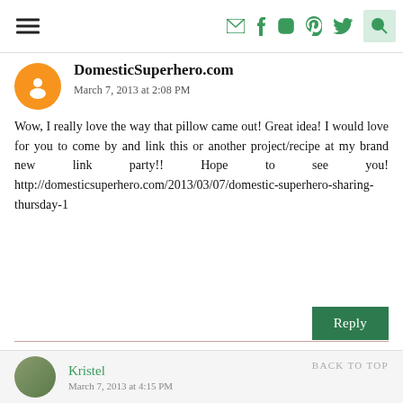Navigation bar with hamburger menu and social icons (email, facebook, instagram, pinterest, twitter, search)
DomesticSuperhero.com
March 7, 2013 at 2:08 PM
Wow, I really love the way that pillow came out! Great idea! I would love for you to come by and link this or another project/recipe at my brand new link party!! Hope to see you! http://domesticsuperhero.com/2013/03/07/domestic-superhero-sharing-thursday-1
Reply
Kristel
March 7, 2013 at 4:15 PM
BACK TO TOP